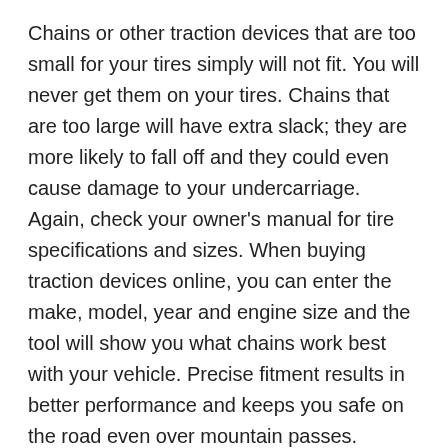Chains or other traction devices that are too small for your tires simply will not fit. You will never get them on your tires. Chains that are too large will have extra slack; they are more likely to fall off and they could even cause damage to your undercarriage. Again, check your owner's manual for tire specifications and sizes. When buying traction devices online, you can enter the make, model, year and engine size and the tool will show you what chains work best with your vehicle. Precise fitment results in better performance and keeps you safe on the road even over mountain passes.
Once you have your tire system squared away, you should spend some time on general winter preparation. Free battery charging at America's #1 battery destination makes sure your battery will make it through the winter. You don't want to get stranded on a lonely road in the middle of the night in sub-freezing temperatures. If your battery is old, replace with a new one that will start your car on the